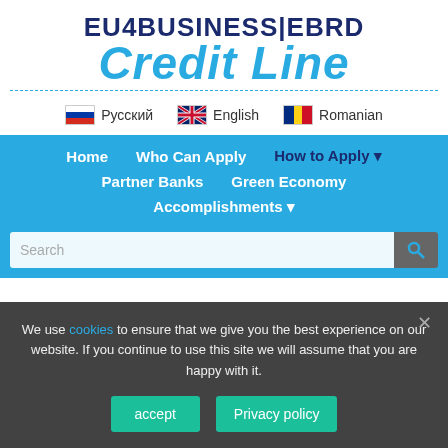[Figure (logo): EU4BUSINESS|EBRD Credit Line logo — dark blue uppercase text 'EU4BUSINESS|EBRD' above large italic cyan 'Credit Line' text]
Русский   English   Romanian
Home   Who Can Apply   How to Apply ▼   Partner Banks   Green Economy   Accomplishments ▼
Search
We use cookies to ensure that we give you the best experience on our website. If you continue to use this site we will assume that you are happy with it.
accept   Privacy policy